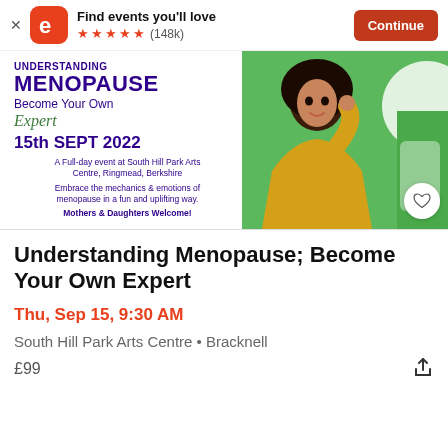[Figure (screenshot): Eventbrite app banner: logo with 'Find events you'll love', 5 star rating (148k), and Continue button]
[Figure (photo): Event promotional image for Understanding Menopause event: text overlay on left with title, date 15th Sept 2022, venue South Hill Park Arts Centre, Ringmead, Berkshire. Right side shows woman in yellow sweater on green background.]
Understanding Menopause; Become Your Own Expert
Thu, Sep 15, 9:30 AM
South Hill Park Arts Centre • Bracknell
£99